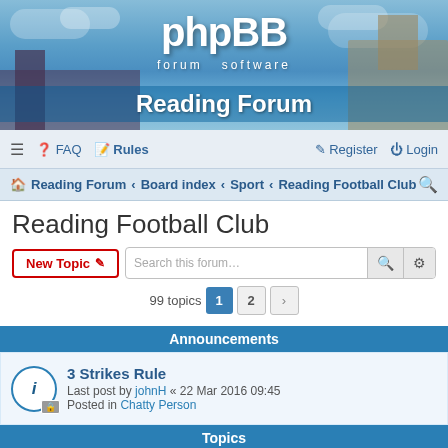[Figure (screenshot): phpBB forum software banner with sky and Reading city background, displaying 'phpBB forum software' logo and 'Reading Forum' text]
≡  FAQ  Rules    Register  Login
Reading Forum › Board index › Sport › Reading Football Club
Reading Football Club
New Topic  Search this forum…  99 topics  1  2  ›
Announcements
3 Strikes Rule
Last post by johnH « 22 Mar 2016 09:45
Posted in Chatty Person
Topics
Any Reading Fans Free for Live Stream Project?
Last post by Pooneil « 11 Jan 2022 19:16
Replies: 5